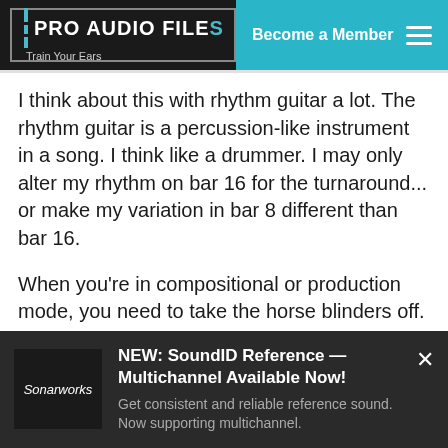PRO AUDIO FILES | Train Your Ears | Become a Member
I think about this with rhythm guitar a lot. The rhythm guitar is a percussion-like instrument in a song. I think like a drummer. I may only alter my rhythm on bar 16 for the turnaround... or make my variation in bar 8 different than bar 16.
When you're in compositional or production mode, you need to take the horse blinders off. Don't just see what's in front of you, see the whole
[Figure (infographic): Sonarworks ad banner: NEW: SoundID Reference — Multichannel Available Now! Get consistent and reliable reference sound. Now supporting multichannel.]